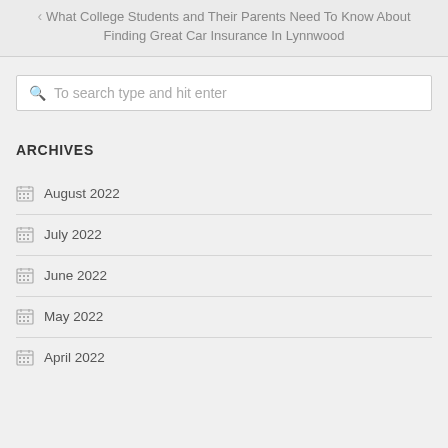What College Students and Their Parents Need To Know About Finding Great Car Insurance In Lynnwood
To search type and hit enter
ARCHIVES
August 2022
July 2022
June 2022
May 2022
April 2022